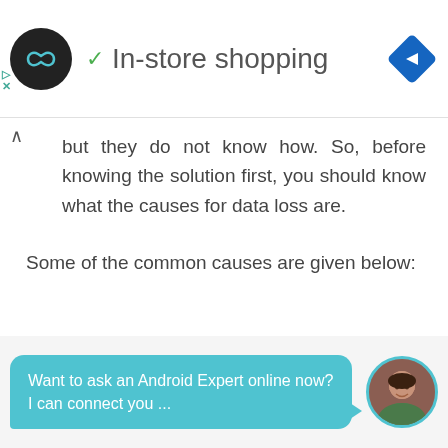[Figure (screenshot): App header bar with circular logo, green checkmark, 'In-store shopping' title, and blue navigation diamond icon]
but they do not know how. So, before knowing the solution first, you should know what the causes for data loss are.
Some of the common causes are given below:
Want to ask an Android Expert online now? I can connect you ...